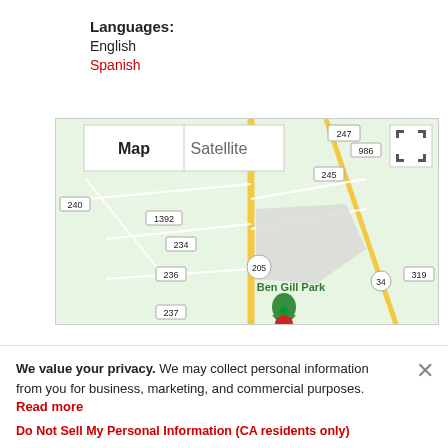Languages:
English
Spanish
[Figure (map): Google Maps view showing Ben Gill Park area with road numbers 247, 986, 245, 240, 1392, 234, 236, 205, 319, 34, 237 and a green park marker. Map/Satellite toggle buttons visible at top left, fullscreen button at top right.]
We value your privacy. We may collect personal information from you for business, marketing, and commercial purposes. Read more
Do Not Sell My Personal Information (CA residents only)